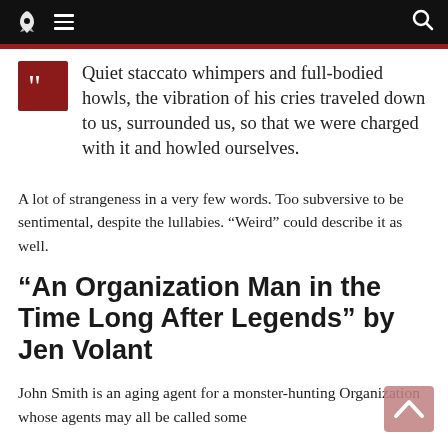[Navigation bar with rocket logo, hamburger menu, and search icon]
Quiet staccato whimpers and full-bodied howls, the vibration of his cries traveled down to us, surrounded us, so that we were charged with it and howled ourselves.
A lot of strangeness in a very few words. Too subversive to be sentimental, despite the lullabies. “Weird” could describe it as well.
“An Organization Man in the Time Long After Legends” by Jen Volant
John Smith is an aging agent for a monster-hunting Organization whose agents may all be called some